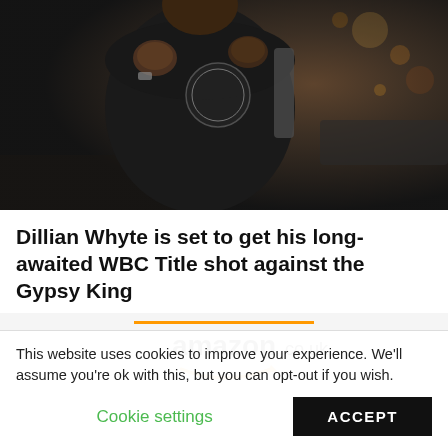[Figure (photo): A boxer wearing a black tracksuit with a logo, standing in a fighting pose against a blurred night background.]
Dillian Whyte is set to get his long-awaited WBC Title shot against the Gypsy King
[Figure (logo): Amazon.co.uk logo with orange smile arrow beneath, above an advertisement showing boxing pads/gloves.]
This website uses cookies to improve your experience. We'll assume you're ok with this, but you can opt-out if you wish.
Cookie settings    ACCEPT